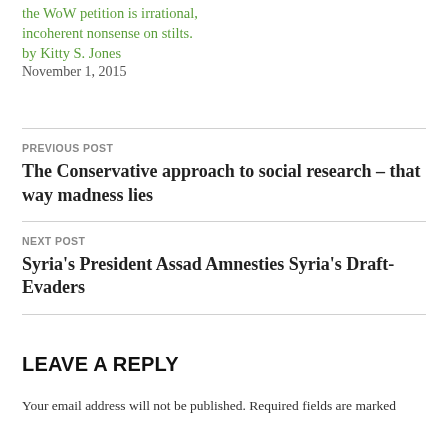the WoW petition is irrational, incoherent nonsense on stilts.
by Kitty S. Jones
November 1, 2015
PREVIOUS POST
The Conservative approach to social research – that way madness lies
NEXT POST
Syria's President Assad Amnesties Syria's Draft-Evaders
LEAVE A REPLY
Your email address will not be published. Required fields are marked